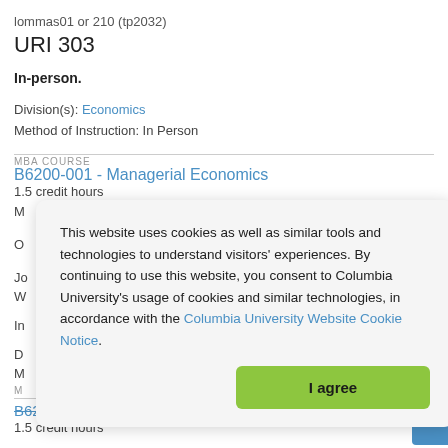lommas01 or 210 (tp2032)
URI 303
In-person.
Division(s): Economics
Method of Instruction: In Person
MBA COURSE
B6200-001 - Managerial Economics
1.5 credit hours
[Figure (screenshot): Cookie consent banner overlay reading: 'This website uses cookies as well as similar tools and technologies to understand visitors' experiences. By continuing to use this website, you consent to Columbia University's usage of cookies and similar technologies, in accordance with the Columbia University Website Cookie Notice.' with an 'I agree' green button.]
B6200-002 - Managerial Economics
1.5 credit hours